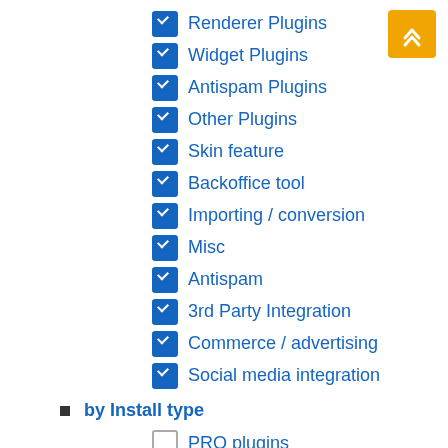☑ Renderer Plugins
☑ Widget Plugins
☑ Antispam Plugins
☑ Other Plugins
☑ Skin feature
☑ Backoffice tool
☑ Importing / conversion
☑ Misc
☑ Antispam
☑ 3rd Party Integration
☑ Commerce / advertising
☑ Social media integration
■ by Install type
☐ PRO plugins
☐ Bundled plugin
☐ Downloadable Plugin
☐ Hack
☐ Scheduled task